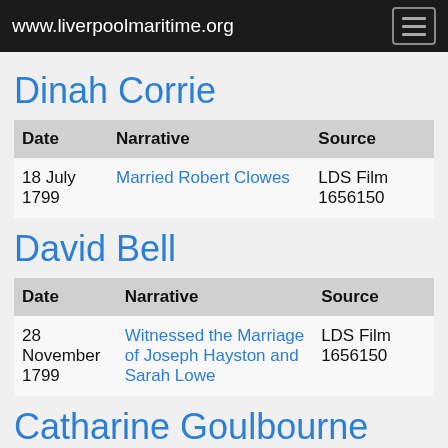www.liverpoolmaritime.org
Dinah Corrie
| Date | Narrative | Source |
| --- | --- | --- |
| 18 July 1799 | Married Robert Clowes | LDS Film 1656150 |
David Bell
| Date | Narrative | Source |
| --- | --- | --- |
| 28 November 1799 | Witnessed the Marriage of Joseph Hayston and Sarah Lowe | LDS Film 1656150 |
Catharine Goulbourne